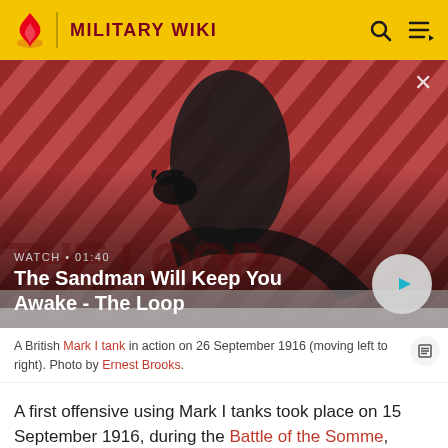MILITARY WIKI
[Figure (screenshot): Video thumbnail with dark-cloaked figure holding a raven on red diagonal striped background. Text overlay: WATCH • 01:40, The Sandman Will Keep You Awake - The Loop. Play button visible.]
A British Mark I tank in action on 26 September 1916 (moving left to right). Photo by Ernest Brooks.
A first offensive using Mark I tanks took place on 15 September 1916, during the Battle of the Somme, under